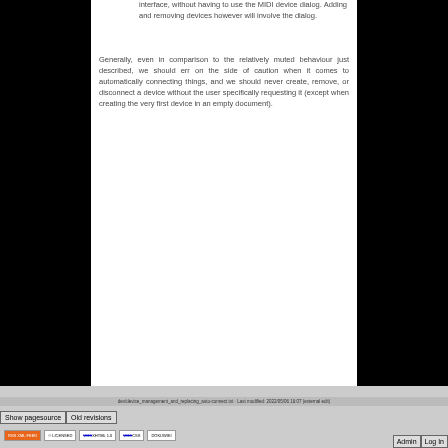interface, without having to use the MIDI device dialog. Adding and removing devices however will involve the dialog.
Generally, even in comparison to the relatively muted behaviour just described, we should err on the side of caution when it comes to automatically connecting things, and we should never create, remove, or disconnect a device without the user specifically requesting it (except when creating the very first device in an empty document).
dev/device_management_and_replacing_auto-connect.txt · Last modified: 2022/05/06 16:07 (external edit)
Show pagesource
Old revisions
Admin  Log In